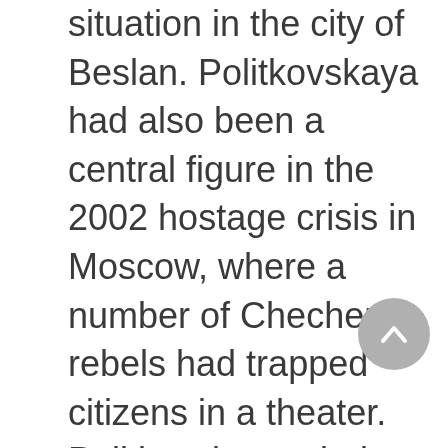situation in the city of Beslan. Politkovskaya had also been a central figure in the 2002 hostage crisis in Moscow, where a number of Chechen rebels had trapped citizens in a theater. Politkovskaya tried to negotiate with them, but Russian authorities raided the theater, killing not only the terrorists but also over one hundred innocent people. Highly critical of the government led by President Vladimir Putin, Politkovskaya also wrote disparagingly